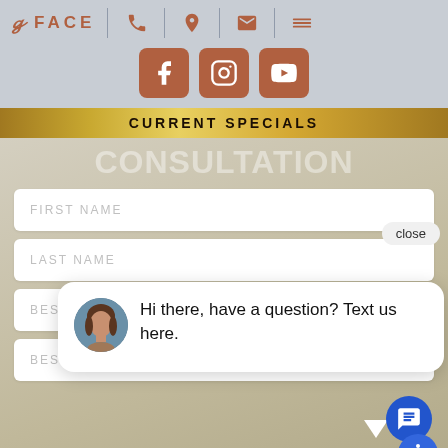[Figure (screenshot): Website header with FACE logo, navigation icons (phone, location, email, menu), social media buttons (Facebook, Instagram, YouTube), gold CURRENT SPECIALS banner, CONSULTATION watermark text, form fields for FIRST NAME, LAST NAME, BEST EMAIL ADDRESS, BEST PHONE NUMBER, and a chat widget popup saying 'Hi there, have a question? Text us here.']
CURRENT SPECIALS
CONSULTATION
FIRST NAME
LAST NAME
BEST EMAIL ADDRESS
BEST PHONE NUMBER
Hi there, have a question? Text us here.
close